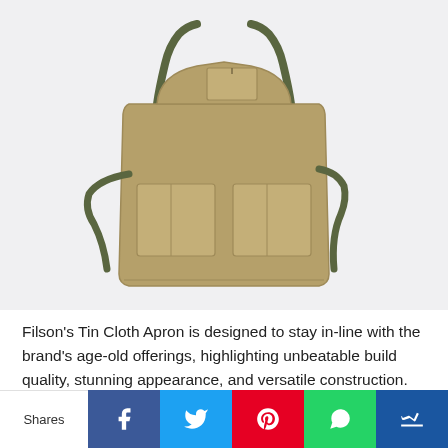[Figure (photo): A tan/khaki canvas work apron (Filson Tin Cloth Apron) displayed flat on a white/light grey background. The apron has multiple front pockets, olive/dark green leather adjustable straps going over the shoulders and wrapping around the waist.]
Filson's Tin Cloth Apron is designed to stay in-line with the brand's age-old offerings, highlighting unbeatable build quality, stunning appearance, and versatile construction. The garment's durability and rugged nature set it apart, thanks to a wrap-around waist belt, machine-washable Antique Tin Cloth material, and an adjustable neck brace.
Shares | Facebook | Twitter | Pinterest | WhatsApp | Other